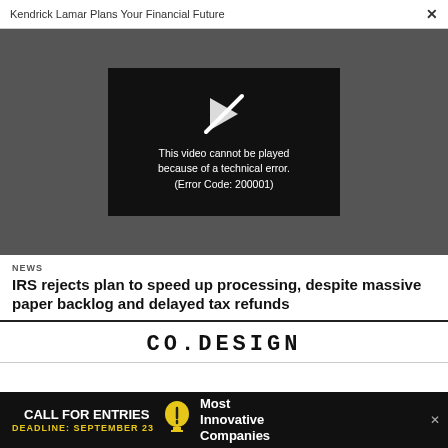Kendrick Lamar Plans Your Financial Future  ✕
[Figure (screenshot): Video player error screen showing a black rectangle with a broken play icon and text: 'This video cannot be played because of a technical error. (Error Code: 200001)' on a dark gray background.]
NEWS
IRS rejects plan to speed up processing, despite massive paper backlog and delayed tax refunds
[Figure (logo): CO.DESIGN logo in large uppercase letters]
[Figure (infographic): Advertisement banner: CALL FOR ENTRIES — DEADLINE: SEPTEMBER 23 — Most Innovative Companies]